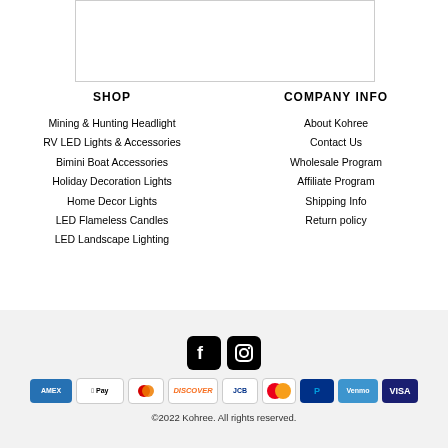[Figure (other): Empty white box with border, partial product image area]
SHOP
Mining & Hunting Headlight
RV LED Lights & Accessories
Bimini Boat Accessories
Holiday Decoration Lights
Home Decor Lights
LED Flameless Candles
LED Landscape Lighting
COMPANY INFO
About Kohree
Contact Us
Wholesale Program
Affiliate Program
Shipping Info
Return policy
[Figure (logo): Facebook and Instagram social media icons]
[Figure (infographic): Payment method logos: Amex, Apple Pay, Diners, Discover, JCB, Mastercard, PayPal, Venmo, Visa]
©2022 Kohree. All rights reserved.